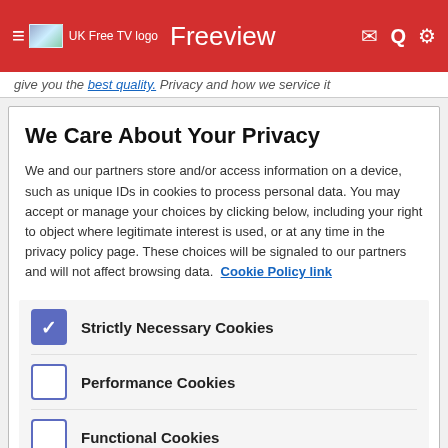≡ UK Free TV logo  Freeview  ✉ 🔍 ⚙
give you the best quality. Privacy and how we service it
We Care About Your Privacy
We and our partners store and/or access information on a device, such as unique IDs in cookies to process personal data. You may accept or manage your choices by clicking below, including your right to object where legitimate interest is used, or at any time in the privacy policy page. These choices will be signaled to our partners and will not affect browsing data. Cookie Policy link
Strictly Necessary Cookies (checked)
Performance Cookies (unchecked)
Functional Cookies (unchecked)
Targeting Cookies (unchecked)
List of Partners (vendors)